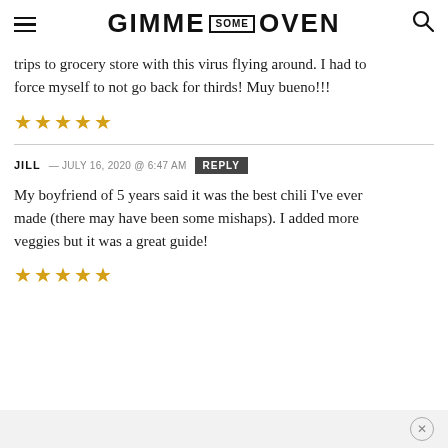GIMME SOME OVEN
trips to grocery store with this virus flying around. I had to force myself to not go back for thirds! Muy bueno!!!
★★★★★
JILL — JULY 16, 2020 @ 6:47 AM  REPLY
My boyfriend of 5 years said it was the best chili I've ever made (there may have been some mishaps). I added more veggies but it was a great guide!
★★★★★